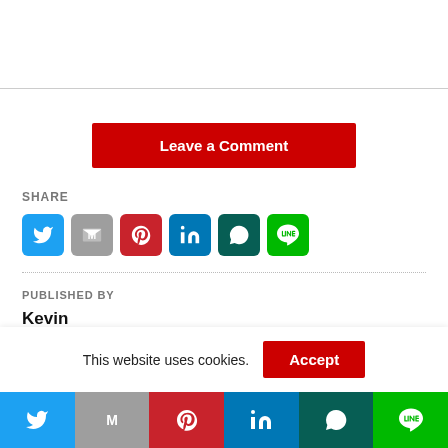[Figure (screenshot): Leave a Comment button — red rectangular button with white bold text]
SHARE
[Figure (infographic): Row of 6 social share icon buttons: Twitter (blue), Gmail (grey), Pinterest (red), LinkedIn (blue), WhatsApp (dark green), LINE (green)]
PUBLISHED BY
Kevin
This website uses cookies.
[Figure (infographic): Bottom share bar with 6 colored sections: Twitter, Gmail, Pinterest, LinkedIn, WhatsApp, LINE icons]